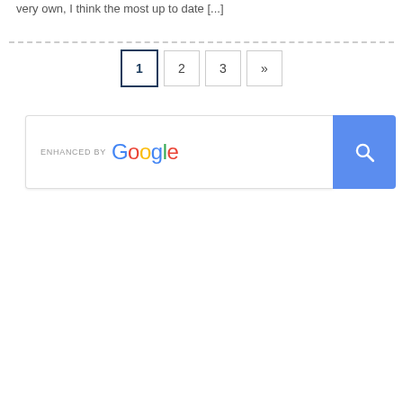very own, I think the most up to date [...]
[Figure (screenshot): Pagination bar with buttons: 1 (active/highlighted), 2, 3, »]
[Figure (screenshot): Enhanced by Google search bar with blue search button and magnifying glass icon]